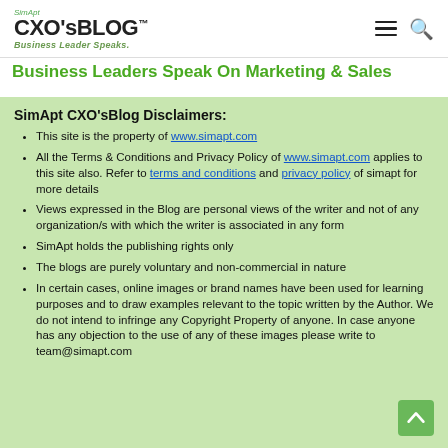CXO'sBLOG™ — Business Leader Speaks
Business Leaders Speak On Marketing & Sales
SimApt CXO'sBlog Disclaimers:
This site is the property of www.simapt.com
All the Terms & Conditions and Privacy Policy of www.simapt.com applies to this site also. Refer to terms and conditions and privacy policy of simapt for more details
Views expressed in the Blog are personal views of the writer and not of any organization/s with which the writer is associated in any form
SimApt holds the publishing rights only
The blogs are purely voluntary and non-commercial in nature
In certain cases, online images or brand names have been used for learning purposes and to draw examples relevant to the topic written by the Author. We do not intend to infringe any Copyright Property of anyone. In case anyone has any objection to the use of any of these images please write to team@simapt.com